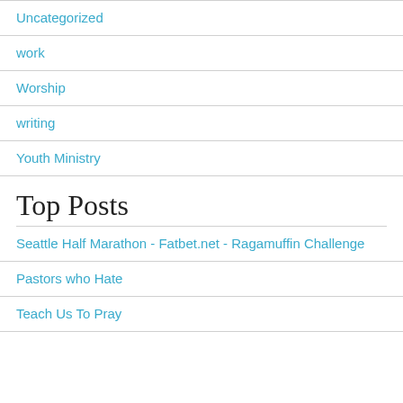Uncategorized
work
Worship
writing
Youth Ministry
Top Posts
Seattle Half Marathon - Fatbet.net - Ragamuffin Challenge
Pastors who Hate
Teach Us To Pray